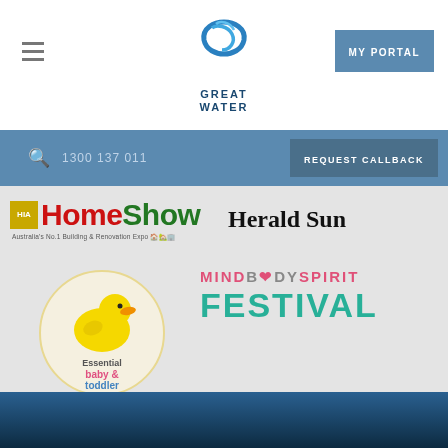[Figure (logo): Great Water logo with wave graphic and MY PORTAL button in top navigation bar]
1300 137 011
REQUEST CALLBACK
[Figure (logo): HIA HomeShow Australia's No.1 Building & Renovation Expo logo]
[Figure (logo): Herald Sun newspaper logo]
[Figure (logo): Essential baby & toddler show logo with yellow rubber duck]
[Figure (logo): MindBodySpirit Festival logo in pink, grey and teal colors]